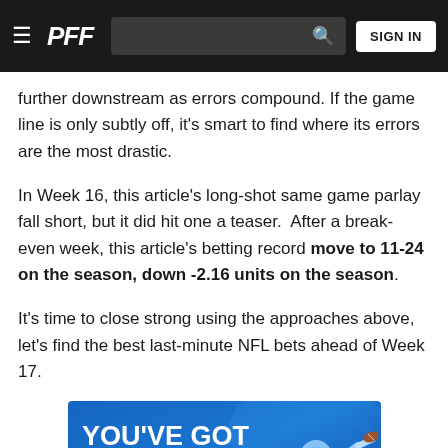PFF | SIGN IN
further downstream as errors compound. If the game line is only subtly off, it's smart to find where its errors are the most drastic.
In Week 16, this article's long-shot same game parlay fall short, but it did hit one a teaser.  After a break-even week, this article's betting record move to 11-24 on the season, down -2.16 units on the season.
It's time to close strong using the approaches above, let's find the best last-minute NFL bets ahead of Week 17.
[Figure (illustration): Advertisement banner with blue background showing text 'YOU'VE GOT THE FIRST PICK WITH' and a football player figure on the right]